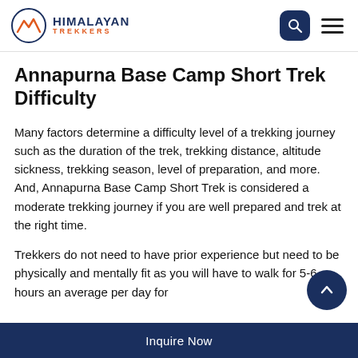HIMALAYAN TREKKERS
Annapurna Base Camp Short Trek Difficulty
Many factors determine a difficulty level of a trekking journey such as the duration of the trek, trekking distance, altitude sickness, trekking season, level of preparation, and more. And, Annapurna Base Camp Short Trek is considered a moderate trekking journey if you are well prepared and trek at the right time.
Trekkers do not need to have prior experience but need to be physically and mentally fit as you will have to walk for 5-6 hours an average per day for
Inquire Now